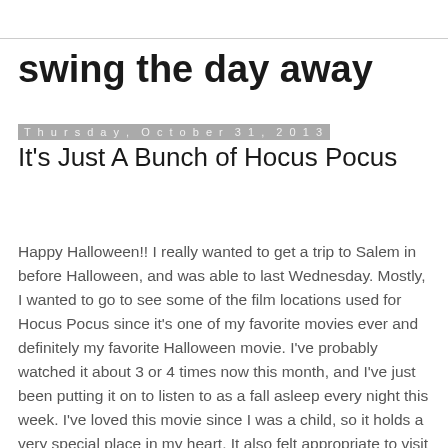swing the day away
Thursday, October 31, 2013
It's Just A Bunch of Hocus Pocus
Happy Halloween!! I really wanted to get a trip to Salem in before Halloween, and was able to last Wednesday. Mostly, I wanted to go to see some of the film locations used for Hocus Pocus since it's one of my favorite movies ever and definitely my favorite Halloween movie. I've probably watched it about 3 or 4 times now this month, and I've just been putting it on to listen to as a fall asleep every night this week. I've loved this movie since I was a child, so it holds a very special place in my heart. It also felt appropriate to visit the locations this year because it is the 20th anniversary of the movie! That's right. This movie came out when I was about 4, which means I've been watching it every year for the majority of my life. Pretty cool!